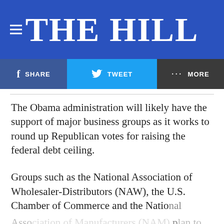THE HILL
[Figure (screenshot): Social sharing bar with Facebook Share, Twitter Tweet, and More buttons]
The Obama administration will likely have the support of major business groups as it works to round up Republican votes for raising the federal debt ceiling.
Groups such as the National Association of Wholesaler-Distributors (NAW), the U.S. Chamber of Commerce and the National Association of Manufacturers (NAM) plan to step ... increase as the deadline for congressional
[Figure (screenshot): Toyota advertisement banner: Search the Largest Selection of Inventory - Shop Toyota]